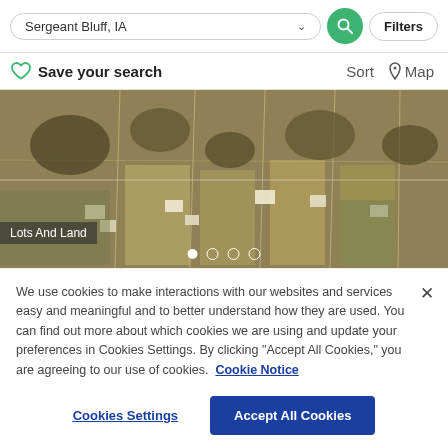[Figure (screenshot): Search bar with 'Sergeant Bluff, IA' text, dropdown chevron, green search button, and Filters button]
Save your search
Sort  Map
[Figure (photo): Aerial satellite view of lots and land parcels in Sergeant Bluff, IA, with carousel dots and 'Lots And Land' label overlay]
We use cookies to make interactions with our websites and services easy and meaningful and to better understand how they are used. You can find out more about which cookies we are using and update your preferences in Cookies Settings. By clicking "Accept All Cookies," you are agreeing to our use of cookies.  Cookie Notice
Cookies Settings
Accept All Cookies